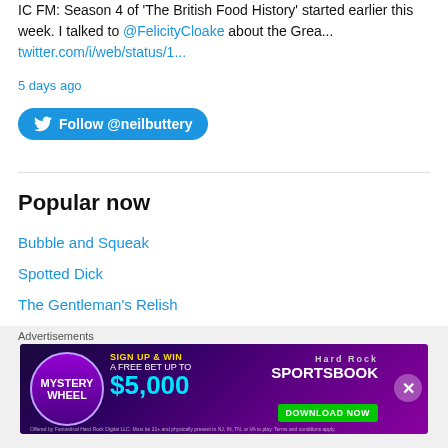IC FM: Season 4 of 'The British Food History' started earlier this week. I talked to @FelicityCloake about the Grea... twitter.com/i/web/status/1...
5 days ago
Follow @neilbuttery
Popular now
Bubble and Squeak
Spotted Dick
The Gentleman's Relish
Eel, Pie and Mash
What is a pudding?
Sweetbreads
King Alfred Burns the Cakes
Favourite Cook Books No. 1: The Be-Ro Book
[Figure (other): Hard Rock Sportsbook advertisement banner - Mystery Wheel, Sign Up & Win A Free Bet Up To $5,000, Download Now button]